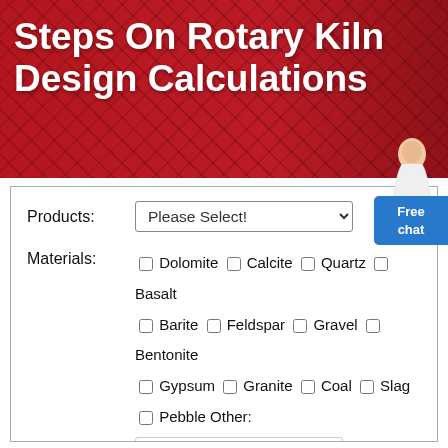Steps On Rotary Kiln Design Calculations
Products: Please Select! (dropdown)
Materials: Dolomite, Calcite, Quartz, Basalt, Barite, Feldspar, Gravel, Bentonite, Gypsum, Granite, Coal, Slag, Pebble, Other: As: Marble
Capacity: > 100 TPH, > 50 TPH, > 30 TPH, > 10 TPH, > 1 TPH, < 1 TPH
Use Place: As: South Africa